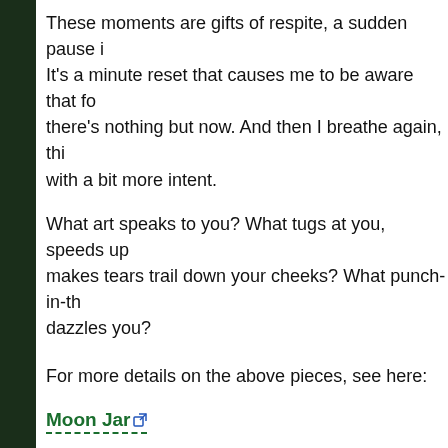These moments are gifts of respite, a sudden pause i… It's a minute reset that causes me to be aware that fo… there's nothing but now. And then I breathe again, thi… with a bit more intent.
What art speaks to you? What tugs at you, speeds up… makes tears trail down your cheeks? What punch-in-th… dazzles you?
For more details on the above pieces, see here:
Moon Jar
Copenhagen Harbor by Moonlight
Female Dancer